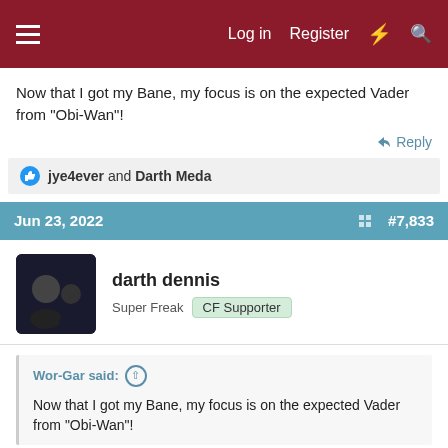Log in  Register
Now that I got my Bane, my focus is on the expected Vader from "Obi-Wan"!
↩ Reply
👍 jye4ever and Darth Meda
Jun 23, 2022  #7,833
darth dennis
Super Freak  CF Supporter
Wor-Gar said: ↑
Now that I got my Bane, my focus is on the expected Vader from "Obi-Wan"!
All his life, Wor-Gar has looked away, to the future to the horizon. Never his mind on where he was... 🙂